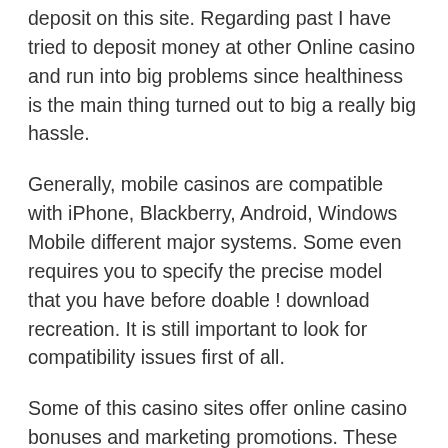deposit on this site. Regarding past I have tried to deposit money at other Online casino and run into big problems since healthiness is the main thing turned out to big a really big hassle.
Generally, mobile casinos are compatible with iPhone, Blackberry, Android, Windows Mobile different major systems. Some even requires you to specify the precise model that you have before doable ! download recreation. It is still important to look for compatibility issues first of all.
Some of this casino sites offer online casino bonuses and marketing promotions. These incentives include signup bonuses, promotions for High Rollers and Referral Bonuses. Referral bonuses are made when you refer other players perform at the casino article. Signup bonuses are given to beginners when they make their